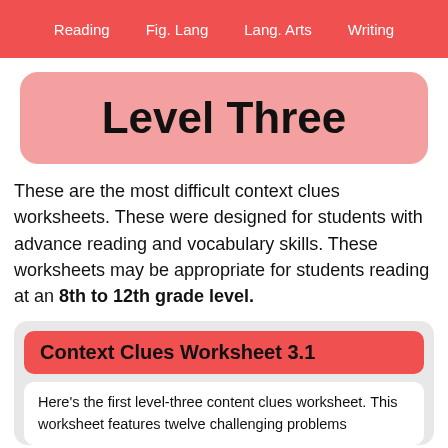Reading    Fig. Lang    Lang. Arts    Writing
Level Three
These are the most difficult context clues worksheets. These were designed for students with advance reading and vocabulary skills. These worksheets may be appropriate for students reading at an 8th to 12th grade level.
Context Clues Worksheet 3.1
Here's the first level-three content clues worksheet. This worksheet features twelve challenging problems